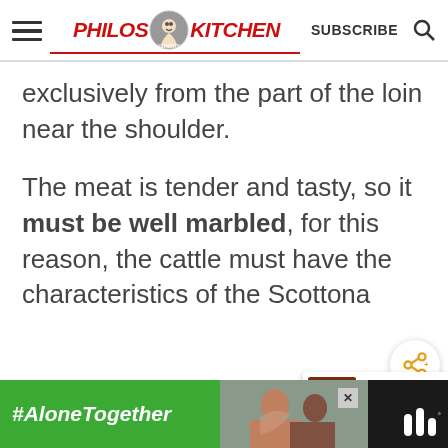Philos Kitchen — SUBSCRIBE
exclusively from the part of the loin near the shoulder.
The meat is tender and tasty, so it must be well marbled, for this reason, the cattle must have the characteristics of the Scottona
[Figure (screenshot): What's Next promo: Homemade Sun-Dried...]
[Figure (screenshot): Ad bar: #AloneTogether with photo of two people]